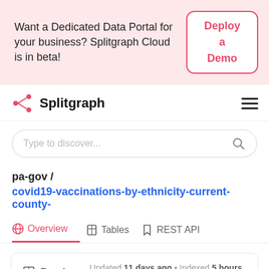Want a Dedicated Data Portal for your business? Splitgraph Cloud is in beta!
Deploy a Demo
Splitgraph
Type to discover...
pa-gov /
covid19-vaccinations-by-ethnicity-current-county-...
Overview
Tables
REST API
Readme  Updated 11 days ago • Indexed 5 hours ago